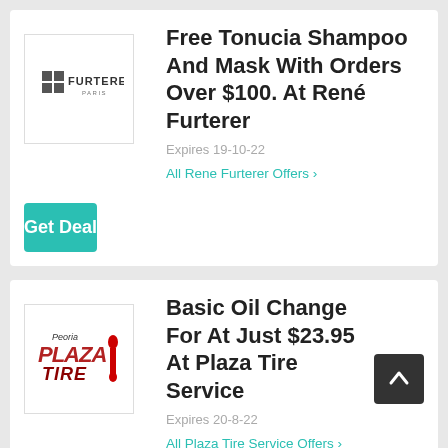[Figure (logo): René Furterer brand logo with grid icon and FURTERER PARIS text]
Free Tonucia Shampoo And Mask With Orders Over $100. At René Furterer
Expires 19-10-22
All Rene Furterer Offers >
Get Deal
[Figure (logo): Peoria Plaza Tire logo with red stylized text]
Basic Oil Change For At Just $23.95 At Plaza Tire Service
Expires 20-8-22
All Plaza Tire Service Offers >